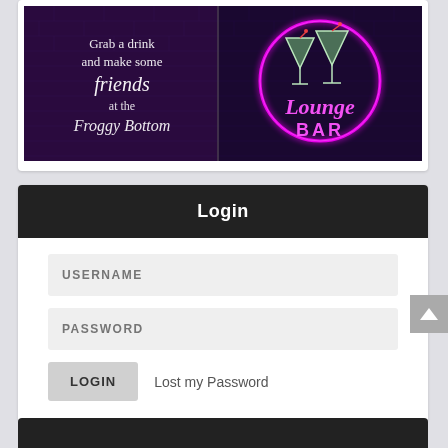[Figure (illustration): Neon bar lounge banner image. Left half shows dark purple background with white italic text 'Grab a drink and make some friends at the Froggy Bottom'. Right half shows neon glowing martini glasses in a pink circle with pink neon text 'Lounge BAR' on a brick wall background.]
Login
USERNAME
PASSWORD
LOGIN   Lost my Password